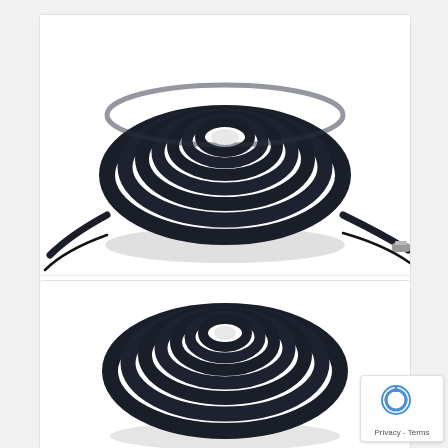[Figure (photo): Coiled black snake cable (DataVideo CB-23H) photographed on white background, showing bundled multi-conductor cable with connectors visible at ends]
DataVideo CB-23H - All-in-One Snake Cable - HD/SD-SDI, Composite Video, and 5-Pin XLR Tally , and 4-Pin XLR12vDC (164 ft)
[Figure (photo): Coiled black snake cable (second product, similar to CB-23H) photographed on white background, partially visible at bottom of page]